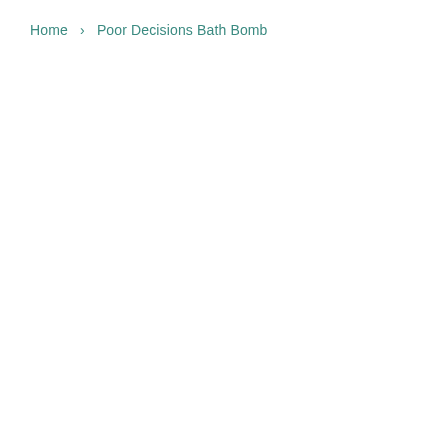Home › Poor Decisions Bath Bomb